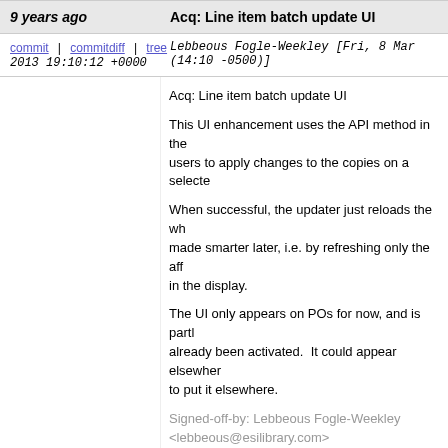9 years ago | Acq: Line item batch update UI
commit | commitdiff | tree   Lebbeous Fogle-Weekley [Fri, 8 Mar 2013 19:10:12 +0000 (14:10 -0500)]
Acq: Line item batch update UI

This UI enhancement uses the API method in the users to apply changes to the copies on a selected

When successful, the updater just reloads the who made smarter later, i.e. by refreshing only the affe in the display.

The UI only appears on POs for now, and is partly already been activated. It could appear elsewhere to put it elsewhere.

Signed-off-by: Lebbeous Fogle-Weekley <lebbeous@esilibrary.com>
Signed-off-by: Bill Erickson <berick@esilibrary.com>
9 years ago | Acq: Line item batch update API method
commit | commitdiff | tree   Lebbeous Fogle-Weekley [Tue, 12 Feb 2013 19:40:27 +0000 (14:40 -0500)]
Acq: Line item batch update API method